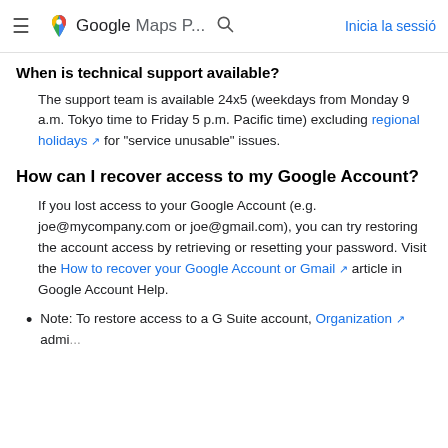Google Maps P... Inicia la sessió
When is technical support available?
The support team is available 24x5 (weekdays from Monday 9 a.m. Tokyo time to Friday 5 p.m. Pacific time) excluding regional holidays for "service unusable" issues.
How can I recover access to my Google Account?
If you lost access to your Google Account (e.g. joe@mycompany.com or joe@gmail.com), you can try restoring the account access by retrieving or resetting your password. Visit the How to recover your Google Account or Gmail article in Google Account Help.
Note: To restore access to a G Suite account,